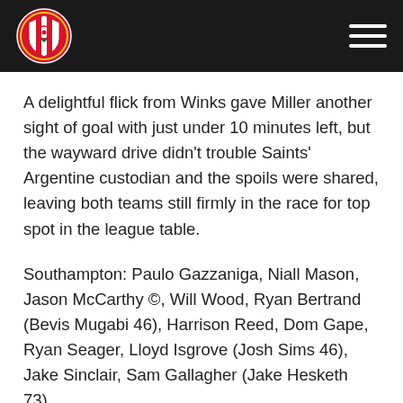Southampton FC header with logo and navigation menu
A delightful flick from Winks gave Miller another sight of goal with just under 10 minutes left, but the wayward drive didn't trouble Saints' Argentine custodian and the spoils were shared, leaving both teams still firmly in the race for top spot in the league table.
Southampton: Paulo Gazzaniga, Niall Mason, Jason McCarthy ©, Will Wood, Ryan Bertrand (Bevis Mugabi 46), Harrison Reed, Dom Gape, Ryan Seager, Lloyd Isgrove (Josh Sims 46), Jake Sinclair, Sam Gallagher (Jake Hesketh 73).
Unused substitutes: Will Britt, Olufela Olomola.